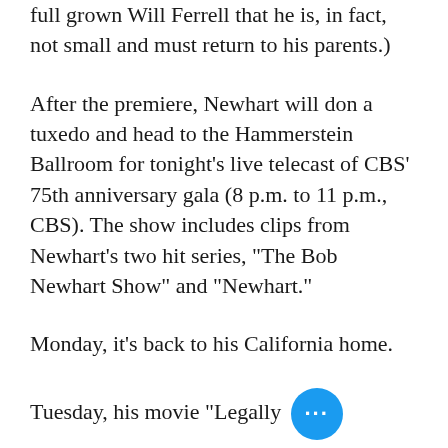full grown Will Ferrell that he is, in fact, not small and must return to his parents.)
After the premiere, Newhart will don a tuxedo and head to the Hammerstein Ballroom for tonight's live telecast of CBS' 75th anniversary gala (8 p.m. to 11 p.m., CBS). The show includes clips from Newhart's two hit series, "The Bob Newhart Show" and "Newhart."
Monday, it's back to his California home.
Tuesday, his movie "Legally Blonde 2: Red, White & Blonde,